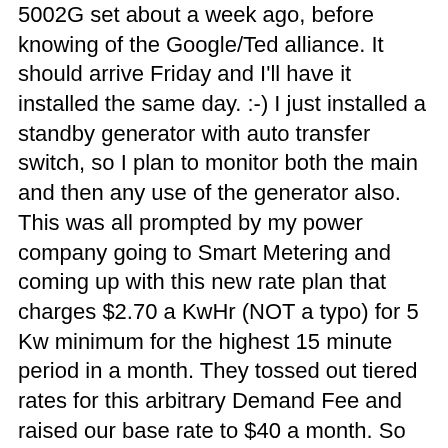5002G set about a week ago, before knowing of the Google/Ted alliance. It should arrive Friday and I'll have it installed the same day. :-) I just installed a standby generator with auto transfer switch, so I plan to monitor both the main and then any use of the generator also. This was all prompted by my power company going to Smart Metering and coming up with this new rate plan that charges $2.70 a KwHr (NOT a typo) for 5 Kw minimum for the highest 15 minute period in a month. They tossed out tiered rates for this arbitrary Demand Fee and raised our base rate to $40 a month. So every residential customer will now be charged $53.50 base a month. I'm 7 days into my month and I'm at 16.554 Kw peak for the additional charge of $44.70. This outrageous charge is regressive and provides no incentive to converse power. They are using the smart metering as a tool to gouge their customers. They won't even tell us when we hit our peak and surely it is not